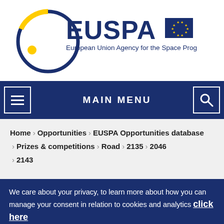[Figure (logo): EUSPA - European Union Agency for the Space Programme logo with EU flag]
MAIN MENU
Home > Opportunities > EUSPA Opportunities database > Prizes & competitions > Road > 2135 > 2046 > 2143
We care about your privacy, to learn more about how you can manage your consent in relation to cookies and analytics click here
OK, I agree   No, thanks